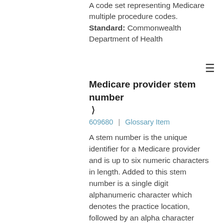A code set representing Medicare multiple procedure codes. Standard: Commonwealth Department of Health
Medicare provider stem number ›
609680 | Glossary Item
A stem number is the unique identifier for a Medicare provider and is up to six numeric characters in length. Added to this stem number is a single digit alphanumeric character which denotes the practice location, followed by an alpha character which is a check character. From a technical perspective and for data storage purposes, the provider six digit stem number is often referred to as the